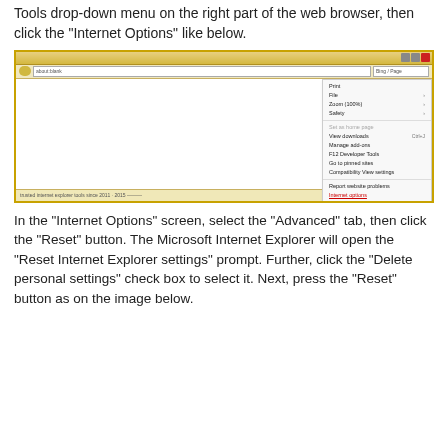Tools drop-down menu on the right part of the web browser, then click the "Internet Options" like below.
[Figure (screenshot): Screenshot of Internet Explorer browser window showing the Tools dropdown menu open with options including Print, File, Zoom (100%), Safety, Set as home page, View downloads, Manage add-ons, F12 Developer Tools, Go to pinned sites, Compatibility View settings, Report website problems, Internet options (highlighted in red/underlined), and About Internet Explorer.]
In the "Internet Options" screen, select the "Advanced" tab, then click the "Reset" button. The Microsoft Internet Explorer will open the "Reset Internet Explorer settings" prompt. Further, click the "Delete personal settings" check box to select it. Next, press the "Reset" button as on the image below.